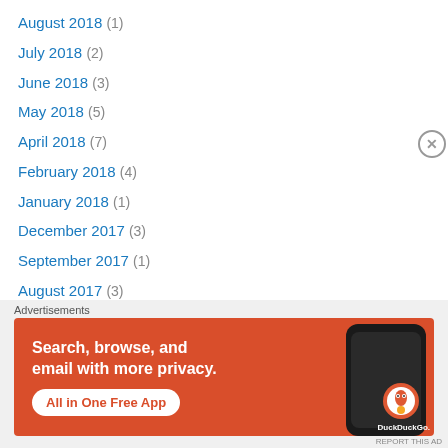August 2018 (1)
July 2018 (2)
June 2018 (3)
May 2018 (5)
April 2018 (7)
February 2018 (4)
January 2018 (1)
December 2017 (3)
September 2017 (1)
August 2017 (3)
July 2017 (2)
June 2017 (1)
May 2017 (5)
April 2017 (8)
[Figure (other): DuckDuckGo advertisement banner with orange background, showing 'Search, browse, and email with more privacy. All in One Free App' text with a smartphone image and DuckDuckGo logo]